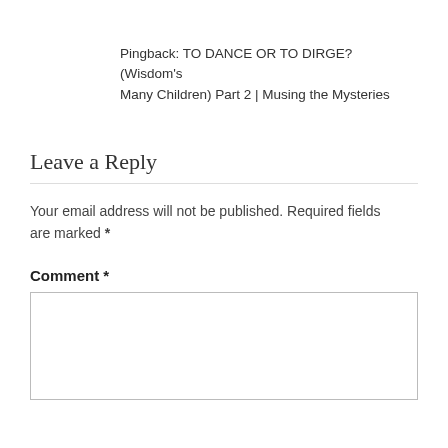Pingback: TO DANCE OR TO DIRGE? (Wisdom's Many Children) Part 2 | Musing the Mysteries
Leave a Reply
Your email address will not be published. Required fields are marked *
Comment *